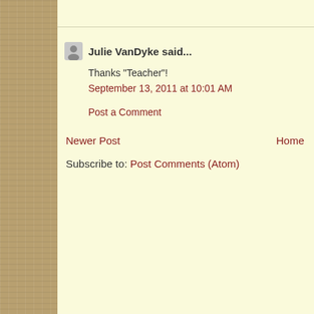Julie VanDyke said...
Thanks "Teacher"!
September 13, 2011 at 10:01 AM
Post a Comment
Newer Post
Home
Subscribe to: Post Comments (Atom)